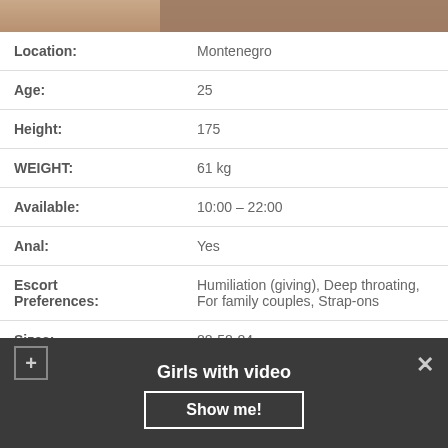[Figure (photo): Partial photo visible at top of page, cropped]
| Location: | Montenegro |
| Age: | 25 |
| Height: | 175 |
| WEIGHT: | 61 kg |
| Available: | 10:00 – 22:00 |
| Anal: | Yes |
| Escort Preferences: | Humiliation (giving), Deep throating, For family couples, Strap-ons |
| Sizes: | 88-58-84 |
| 30 min: |  |
Girls with video
Show me!